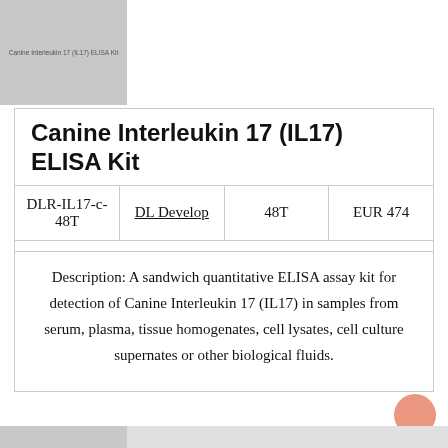[Figure (photo): Product photo placeholder for Canine Interleukin 17 (IL17) ELISA Kit]
Canine Interleukin 17 (IL17) ELISA Kit
| DLR-IL17-c-48T | DL Develop | 48T | EUR 474 |
Description: A sandwich quantitative ELISA assay kit for detection of Canine Interleukin 17 (IL17) in samples from serum, plasma, tissue homogenates, cell lysates, cell culture supernates or other biological fluids.